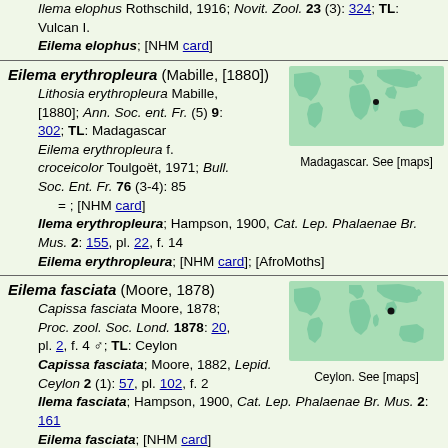Ilema elophus Rothschild, 1916; Novit. Zool. 23 (3): 324; TL: Vulcan I.
Eilema elophus; [NHM card]
Eilema erythropleura (Mabille, [1880])
Lithosia erythropleura Mabille, [1880]; Ann. Soc. ent. Fr. (5) 9: 302; TL: Madagascar
Eilema erythropleura f. croceicolor Toulgoët, 1971; Bull. Soc. Ent. Fr. 76 (3-4): 85
= ; [NHM card]
Ilema erythropleura; Hampson, 1900, Cat. Lep. Phalaenae Br. Mus. 2: 155, pl. 22, f. 14
Eilema erythropleura; [NHM card]; [AfroMoths]
[Figure (map): World map showing distribution point near Madagascar]
Madagascar. See [maps]
Eilema fasciata (Moore, 1878)
Capissa fasciata Moore, 1878; Proc. zool. Soc. Lond. 1878: 20, pl. 2, f. 4 ♂; TL: Ceylon
Capissa fasciata; Moore, 1882, Lepid. Ceylon 2 (1): 57, pl. 102, f. 2
Ilema fasciata; Hampson, 1900, Cat. Lep. Phalaenae Br. Mus. 2: 161
Eilema fasciata; [NHM card]
[Figure (map): World map showing distribution point near Ceylon/Sri Lanka]
Ceylon. See [maps]
Eilema fasciculosa (Walker, 1862)